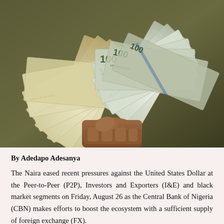[Figure (photo): A person's hand holding a fan of Nigerian Naira (1000 denomination) notes on the left and US Dollar (100 denomination) notes on the right against a dark background.]
By Adedapo Adesanya
The Naira eased recent pressures against the United States Dollar at the Peer-to-Peer (P2P), Investors and Exporters (I&E) and black market segments on Friday, August 26 as the Central Bank of Nigeria (CBN) makes efforts to boost the ecosystem with a sufficient supply of foreign exchange (FX).